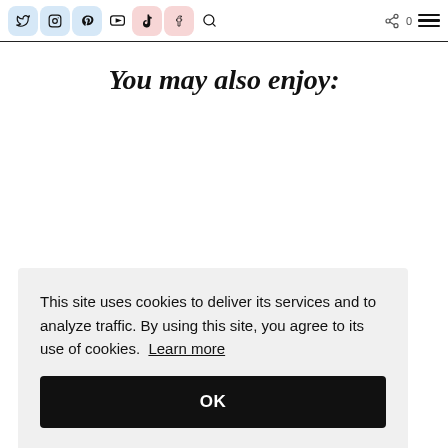Social media icons bar with Twitter, Instagram, Pinterest, YouTube, TikTok, Facebook, Search, Share, and menu icons
You may also enjoy:
This site uses cookies to deliver its services and to analyze traffic. By using this site, you agree to its use of cookies. Learn more
OK